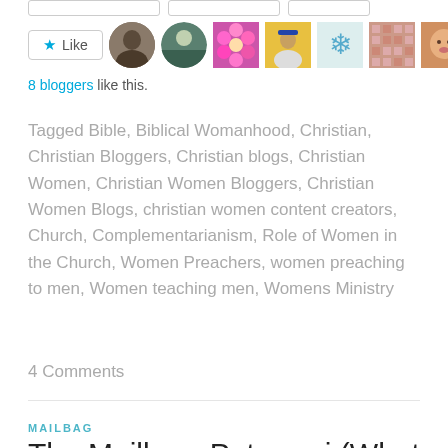[Figure (other): Like button with star icon and 8 blogger avatar thumbnails]
8 bloggers like this.
Tagged Bible, Biblical Womanhood, Christian, Christian Bloggers, Christian blogs, Christian Women, Christian Women Bloggers, Christian Women Blogs, christian women content creators, Church, Complementarianism, Role of Women in the Church, Women Preachers, women preaching to men, Women teaching men, Womens Ministry
4 Comments
MAILBAG
The Mailbag: Potpourri (What to